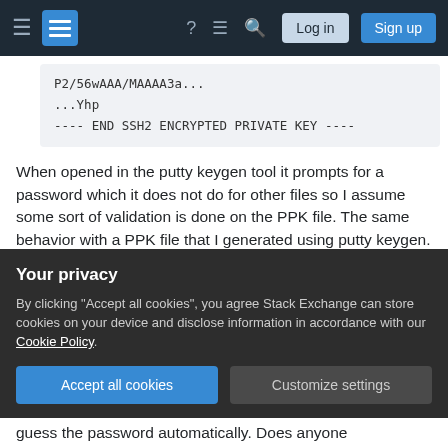Stack Exchange navigation bar with Log in and Sign up buttons
P2/56wAAA/MAAAA3a...
...Yhp
---- END SSH2 ENCRYPTED PRIVATE KEY ----
When opened in the putty keygen tool it prompts for a password which it does not do for other files so I assume some sort of validation is done on the PPK file. The same behavior with a PPK file that I generated using putty keygen.
I tried the PHRASENDRESCHER tool to guess private key passwords but this tool gives no output
Your privacy
By clicking "Accept all cookies", you agree Stack Exchange can store cookies on your device and disclose information in accordance with our Cookie Policy.
Accept all cookies
Customize settings
guess the password automatically. Does anyone